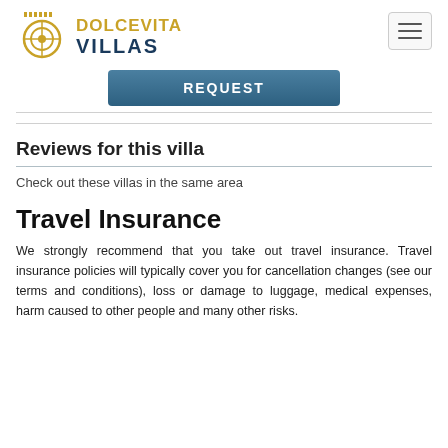[Figure (logo): Dolcevita Villas logo with golden ornamental emblem and two-tone text: DOLCEVITA in gold, VILLAS in dark navy]
REQUEST
Reviews for this villa
Check out these villas in the same area
Travel Insurance
We strongly recommend that you take out travel insurance. Travel insurance policies will typically cover you for cancellation changes (see our terms and conditions), loss or damage to luggage, medical expenses, harm caused to other people and many other risks.